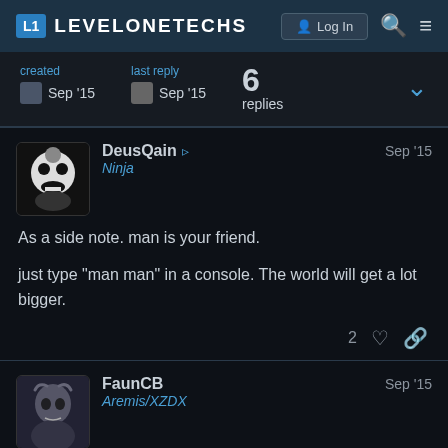L1 LEVELONETECHS | Log In
created Sep '15 | last reply Sep '15 | 6 replies
DeusQain Ninja Sep '15
As a side note. man is your friend.

just type "man man" in a console. The world will get a lot bigger.
2 likes
FaunCB Aremis/XZDX Sep '15
I don't think man pages should come in on day one. certainly